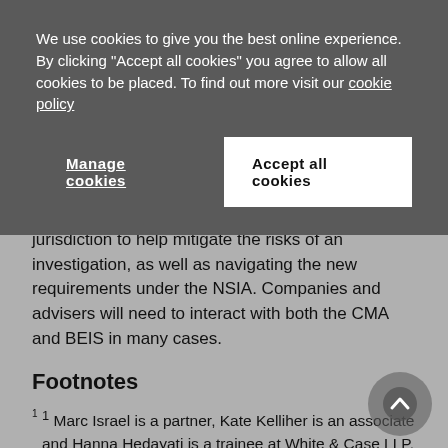We use cookies to give you the best online experience. By clicking "Accept all cookies" you agree to allow all cookies to be placed. To find out more visit our cookie policy
Manage cookies | Accept all cookies
jurisdiction to help mitigate the risks of an investigation, as well as navigating the new requirements under the NSIA. Companies and advisers will need to interact with both the CMA and BEIS in many cases.
Footnotes
1 Marc Israel is a partner, Kate Kelliher is an associate and Hanna Hedayati is a trainee at White & Case LLP.